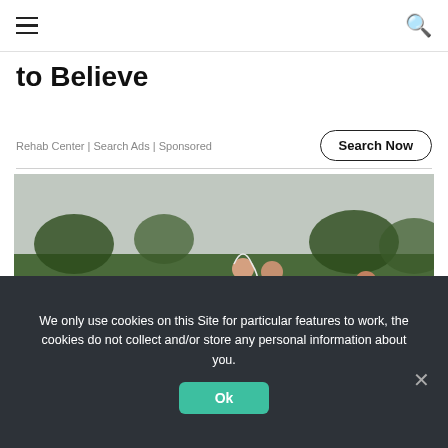≡   🔍
to Believe
Rehab Center | Search Ads | Sponsored
Search Now
[Figure (photo): Outdoor wedding ceremony scene showing a couple embracing, bride in white gown with long veil, groom in black tuxedo, surrounded by guests in white attire on a green lawn with trees and gravel in background. A man in white outfit stands to the right.]
We only use cookies on this Site for particular features to work, the cookies do not collect and/or store any personal information about you.
Ok